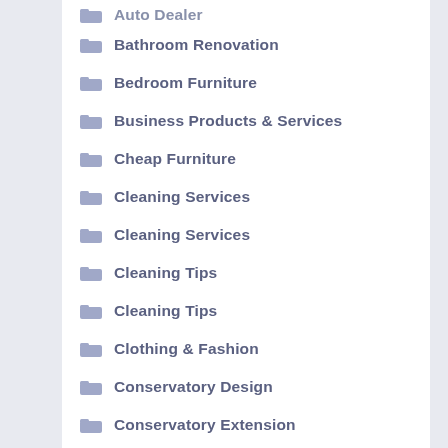Auto Dealer
Bathroom Renovation
Bedroom Furniture
Business Products & Services
Cheap Furniture
Cleaning Services
Cleaning Services
Cleaning Tips
Cleaning Tips
Clothing & Fashion
Conservatory Design
Conservatory Extension
Conservatory Room